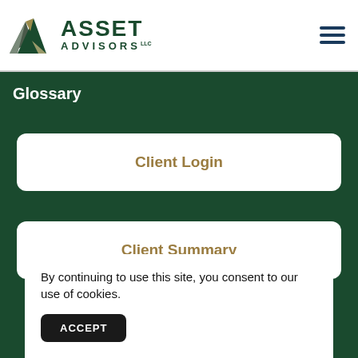[Figure (logo): Asset Advisors LLC logo with triangular mountain graphic and company name]
Glossary
Client Login
Client Summary
By continuing to use this site, you consent to our use of cookies.
ACCEPT